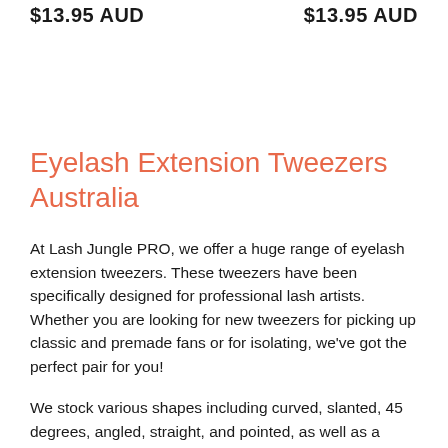$13.95 AUD   $13.95 AUD
Eyelash Extension Tweezers Australia
At Lash Jungle PRO, we offer a huge range of eyelash extension tweezers. These tweezers have been specifically designed for professional lash artists. Whether you are looking for new tweezers for picking up classic and premade fans or for isolating, we've got the perfect pair for you!
We stock various shapes including curved, slanted, 45 degrees, angled, straight, and pointed, as well as a range of different colours like pink, gold, black